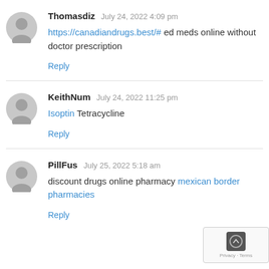Thomasdiz   July 24, 2022 4:09 pm
https://canadiandrugs.best/# ed meds online without doctor prescription
Reply
KeithNum   July 24, 2022 11:25 pm
Isoptin Tetracycline
Reply
PillFus   July 25, 2022 5:18 am
discount drugs online pharmacy mexican border pharmacies
Reply